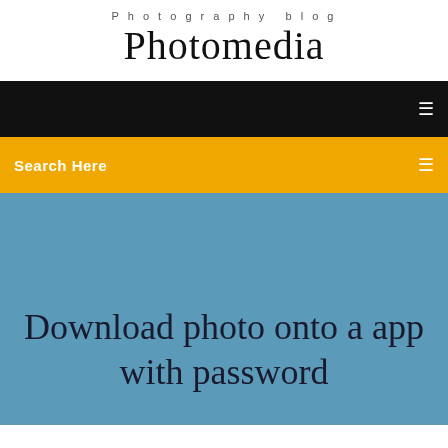Photography blog
Photomedia
[Figure (screenshot): Black navigation bar with a small white icon on the right]
[Figure (screenshot): Yellow/amber search bar with 'Search Here' text on left and a small icon on right]
Download photo onto a app with password